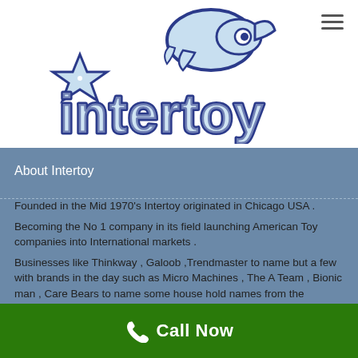[Figure (logo): Intertoy logo featuring a rocket ship and star with the word 'intertoy' in blue bubble letters]
About Intertoy
Founded in the Mid 1970's Intertoy originated in Chicago USA .
Becoming the No 1 company in its field launching American Toy companies into International markets .
Businesses like Thinkway , Galoob ,Trendmaster to name but a few with brands in the day such as Micro Machines , The A Team , Bionic man , Care Bears to name some house hold names from the Seventies.
Call Now